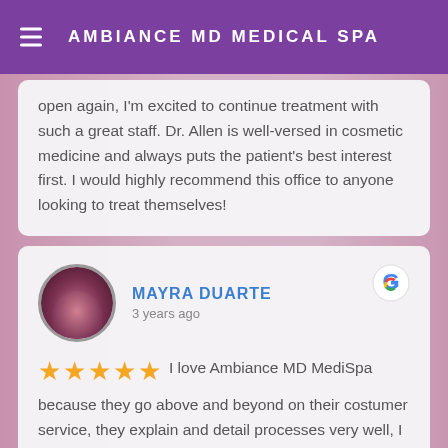AMBIANCE MD MEDICAL SPA
open again, I'm excited to continue treatment with such a great staff. Dr. Allen is well-versed in cosmetic medicine and always puts the patient's best interest first. I would highly recommend this office to anyone looking to treat themselves!
MAYRA DUARTE
3 years ago
I love Ambiance MD MediSpa because they go above and beyond on their costumer service, they explain and detail processes very well, I personally have RN, Mindy she is amazing, she makes me feel very comfortable, friendly, and just so professional. I